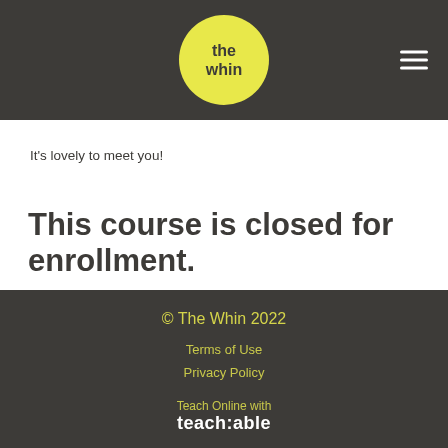[Figure (logo): The Whin logo: yellow circle with 'the whin' text in dark font, on dark gray header bar with hamburger menu icon on the right]
It’s lovely to meet you!
This course is closed for enrollment.
© The Whin 2022
Terms of Use
Privacy Policy
Teach Online with
teach:able